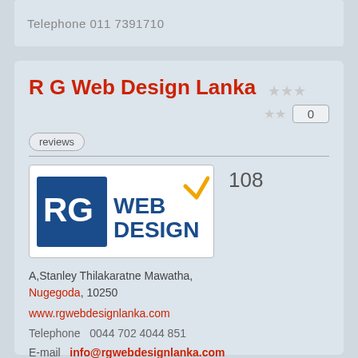Telephone  011 7391710
R G Web Design Lanka
0 reviews
[Figure (logo): RG Web Design logo: blue square with 'RG' in white, followed by 'WEB DESIGN' in dark blue with yellow accent mark]
108
A,Stanley Thilakaratne Mawatha, Nugegoda, 10250
www.rgwebdesignlanka.com
Telephone  0044 702 4044 851
E-mail  info@rgwebdesignlanka.com